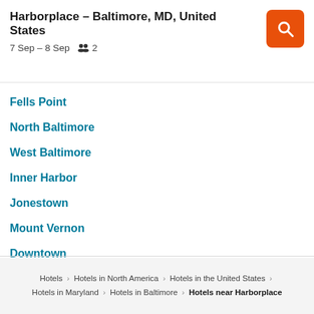Harborplace – Baltimore, MD, United States
7 Sep – 8 Sep   2
Fells Point
North Baltimore
West Baltimore
Inner Harbor
Jonestown
Mount Vernon
Downtown
East Baltimore
Hotels > Hotels in North America > Hotels in the United States > Hotels in Maryland > Hotels in Baltimore > Hotels near Harborplace